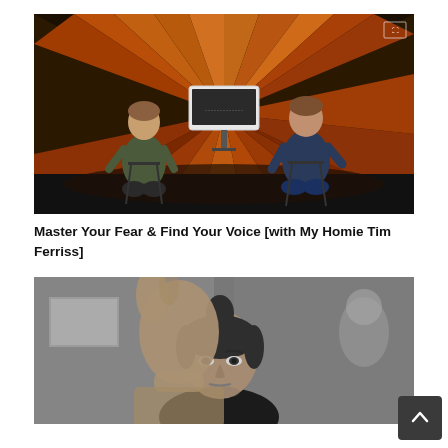[Figure (photo): Two men seated on stools facing each other in a studio with orange geometric wood-panel backdrop and a monitor/screen between them on a stand]
Master Your Fear & Find Your Voice [with My Homie Tim Ferriss]
[Figure (photo): Black and white photo of a man with a top-knot hairstyle holding his hand up toward the camera with a serious expression]